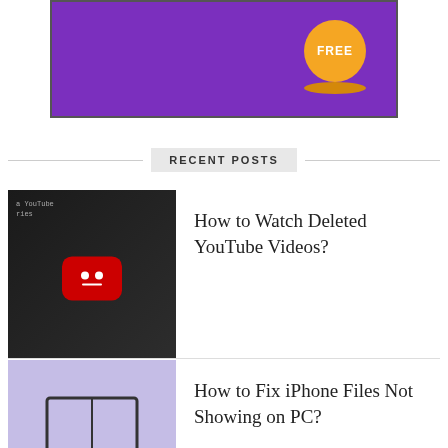[Figure (illustration): Purple banner with a gold FREE circle badge at the top right]
RECENT POSTS
[Figure (photo): YouTube error screen with red icon showing deleted video]
How to Watch Deleted YouTube Videos?
[Figure (illustration): Laptop icon on lavender background representing iPhone files on PC]
How to Fix iPhone Files Not Showing on PC?
[Figure (illustration): NFC tap icon on light gray background]
How to Fix NFC Not Working on Android Devices?